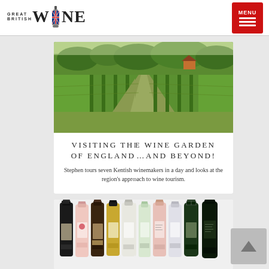GREAT BRITISH WINE — MENU
[Figure (photo): Vineyard rows of green grapevines stretching into the distance under a bright sky with trees in background]
VISITING THE WINE GARDEN OF ENGLAND…AND BEYOND!
Stephen tours seven Kentish winemakers in a day and looks at the region's approach to wine tourism.
[Figure (photo): Row of wine bottles — sparkling wines and champagne bottles of various colors including black, pink, rose, gold, white, and dark green bottles arranged side by side]